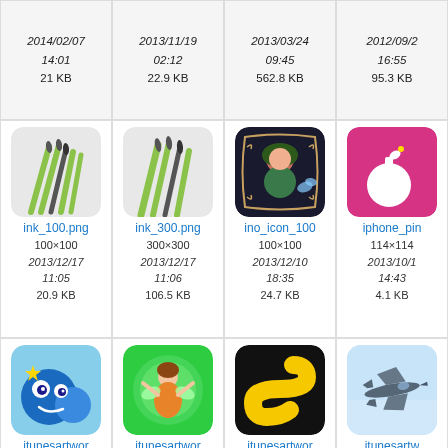[Figure (screenshot): File browser grid showing image thumbnails with filenames, dimensions, dates, and file sizes. Top row shows partial entries: 2014/02/07 14:01 21 KB, 2013/11/19 02:12 22.9 KB, 2013/03/24 09:45 562.8 KB, 2012/09/2x 16:55 95.3 KB. Middle row: ink_100.png (100x100, 2013/12/17 11:05, 20.9 KB), ink_300.png (300x300, 2013/12/17 11:06, 106.5 KB), ino_icon_100 (100x100, 2013/12/10 18:35, 24.7 KB), iphone_pin (114x114, 2013/10/1x 14:43, 4.1 KB). Bottom row: itunesartwor (120x120, 2013/11/04 12:01), itunesartwor (512x512, 2017/04/16 04:51, 400.1 KB), itunesartwor (512x512, 2015/10/26 18:47, 214.5 KB), itunesartwe (512x512, 2013/03/1x 08:37, 257.9x KB).]